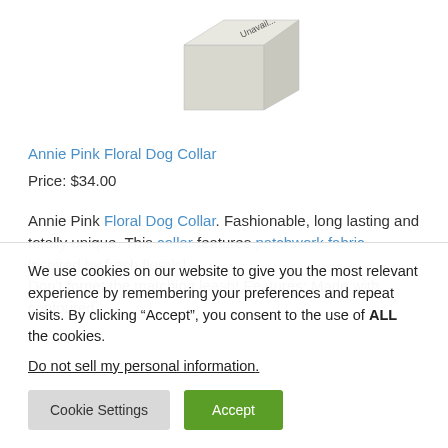[Figure (photo): Product image showing a box labeled 'Unavail...' (unavailable placeholder box) in light beige/grey color, viewed from an angle.]
Annie Pink Floral Dog Collar
Price: $34.00
Annie Pink Floral Dog Collar. Fashionable, long lasting and totally unique. This collar features patchwork fabric inspired by fresh florals! Don't forget the matching leash! Features: Made with contoured...
We use cookies on our website to give you the most relevant experience by remembering your preferences and repeat visits. By clicking “Accept”, you consent to the use of ALL the cookies.
Do not sell my personal information.